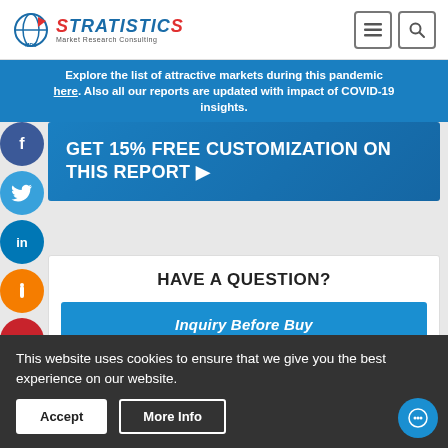Stratistics MRC Market Research Consulting
Explore the list of attractive markets during this pandemic here. Also all our reports are updated with impact of COVID-19 insights.
GET 15% FREE CUSTOMIZATION ON THIS REPORT ▶
HAVE A QUESTION?
Inquiry Before Buy
This website uses cookies to ensure that we give you the best experience on our website.
Accept
More Info